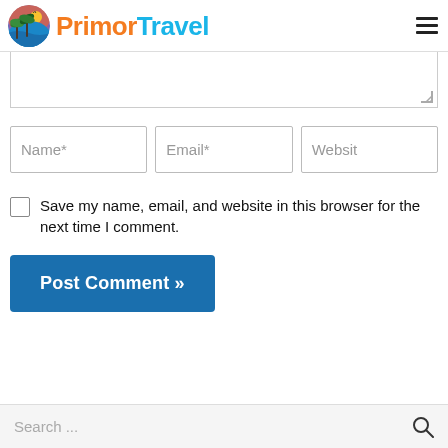[Figure (logo): PrimorTravel logo with circular tropical sunset icon and brand name in orange and blue]
[Figure (screenshot): Comment form with textarea (partially visible), Name*, Email*, Website input fields, a save checkbox, and a Post Comment button]
Save my name, email, and website in this browser for the next time I comment.
Post Comment »
Search ...